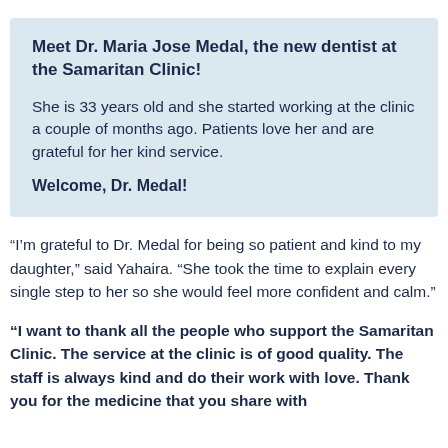Meet Dr. Maria Jose Medal, the new dentist at the Samaritan Clinic!
She is 33 years old and she started working at the clinic a couple of months ago. Patients love her and are grateful for her kind service.
Welcome, Dr. Medal!
“I’m grateful to Dr. Medal for being so patient and kind to my daughter,” said Yahaira. “She took the time to explain every single step to her so she would feel more confident and calm.”
“I want to thank all the people who support the Samaritan Clinic. The service at the clinic is of good quality. The staff is always kind and do their work with love. Thank you for the medicine that you share with